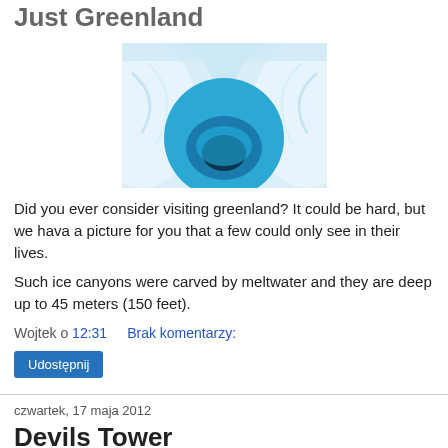Just Greenland
[Figure (photo): Aerial or close-up photo of a blue meltwater pool inside a white ice canyon in Greenland]
Did you ever consider visiting greenland? It could be hard, but we hava a picture for you that a few could only see in their lives.
Such ice canyons were carved by meltwater and they are deep up to 45 meters (150 feet).
Wojtek o 12:31    Brak komentarzy:
Udostępnij
czwartek, 17 maja 2012
Devils Tower